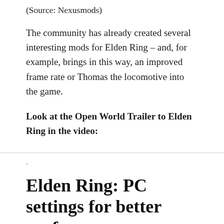(Source: Nexusmods)
The community has already created several interesting mods for Elden Ring – and, for example, brings in this way, an improved frame rate or Thomas the locomotive into the game.
Look at the Open World Trailer to Elden Ring in the video:
Elden Ring: PC settings for better performance